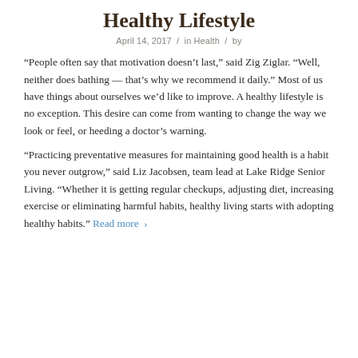Healthy Lifestyle
April 14, 2017 / in Health / by
“People often say that motivation doesn’t last,” said Zig Ziglar. “Well, neither does bathing — that’s why we recommend it daily.” Most of us have things about ourselves we’d like to improve. A healthy lifestyle is no exception. This desire can come from wanting to change the way we look or feel, or heeding a doctor’s warning.
“Practicing preventative measures for maintaining good health is a habit you never outgrow,” said Liz Jacobsen, team lead at Lake Ridge Senior Living. “Whether it is getting regular checkups, adjusting diet, increasing exercise or eliminating harmful habits, healthy living starts with adopting healthy habits.” Read more ›